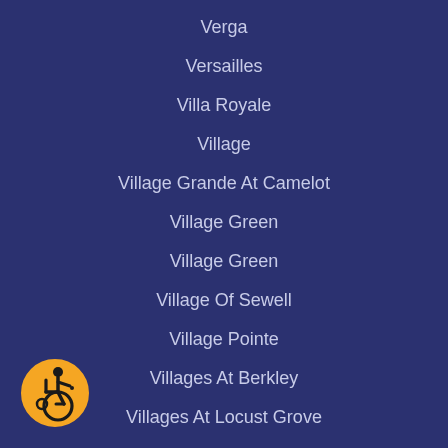Verga
Versailles
Villa Royale
Village
Village Grande At Camelot
Village Green
Village Green
Village Of Sewell
Village Pointe
Villages At Berkley
Villages At Locust Grove
Villages At Parke Place
Villages At Washington Square
Villages At Washington Square
Villages Of Mantua
Villagio
Vineyards
[Figure (illustration): Accessibility icon: yellow circle with black wheelchair user symbol]